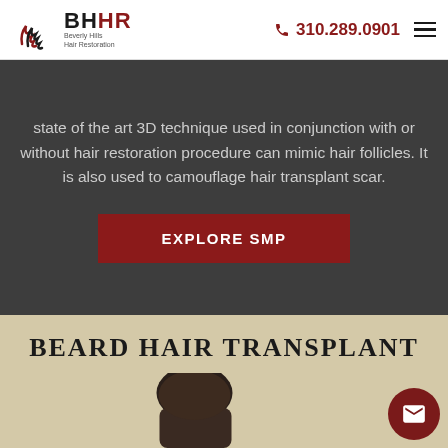BHHR Beverly Hills Hair Restoration | Phone: 310.289.0901
state of the art 3D technique used in conjunction with or without hair restoration procedure can mimic hair follicles. It is also used to camouflage hair transplant scar.
EXPLORE SMP
BEARD HAIR TRANSPLANT
[Figure (photo): Partial view of a man's head showing hair, bottom of page]